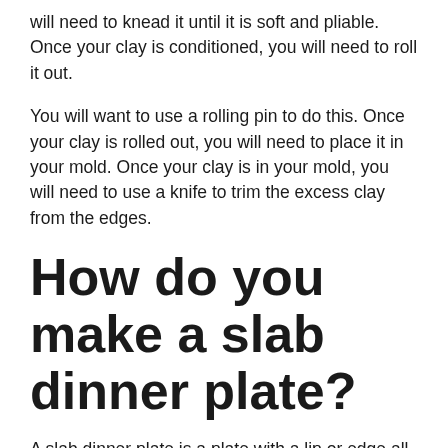will need to knead it until it is soft and pliable. Once your clay is conditioned, you will need to roll it out.
You will want to use a rolling pin to do this. Once your clay is rolled out, you will need to place it in your mold. Once your clay is in your mold, you will need to use a knife to trim the excess clay from the edges.
How do you make a slab dinner plate?
A slab dinner plate is a plate with a lip or edge all the way around it. It is thicker than a standard dinner plate and is usually made of stoneware, porcelain, or earthenware. The lip